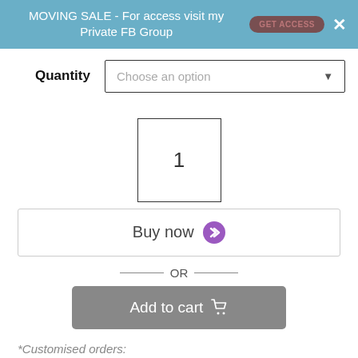MOVING SALE - For access visit my Private FB Group
Quantity   Choose an option
1
Buy now
— OR —
Add to cart
*Customised orders:
For an additional $10.00 you can have your set...